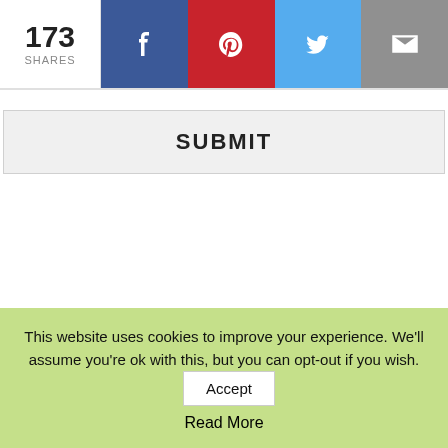173 SHARES — social share bar with Facebook, Pinterest, Twitter, Email buttons
[Figure (screenshot): SUBMIT button — light gray rectangular button with bold uppercase text SUBMIT]
ABOUT ME
This website uses cookies to improve your experience. We'll assume you're ok with this, but you can opt-out if you wish. Accept Read More